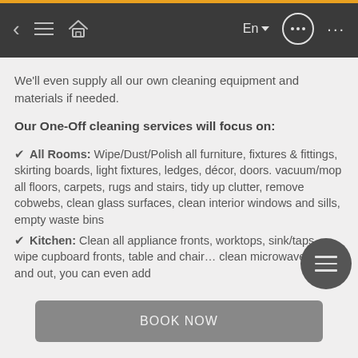Navigation bar with back arrow, menu, home, En language selector, chat bubble, more options
We'll even supply all our own cleaning equipment and materials if needed.
Our One-Off cleaning services will focus on:
✔ All Rooms: Wipe/Dust/Polish all furniture, fixtures & fittings, skirting boards, light fixtures, ledges, décor, doors. vacuum/mop all floors, carpets, rugs and stairs, tidy up clutter, remove cobwebs, clean glass surfaces, clean interior windows and sills, empty waste bins
✔ Kitchen: Clean all appliance fronts, worktops, sink/taps, wipe cupboard fronts, table and chairs, clean microwave inside and out, you can even add